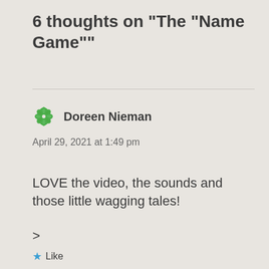6 thoughts on "The "Name Game""
Doreen Nieman
April 29, 2021 at 1:49 pm
LOVE the video, the sounds and those little wagging tales!
>
Like